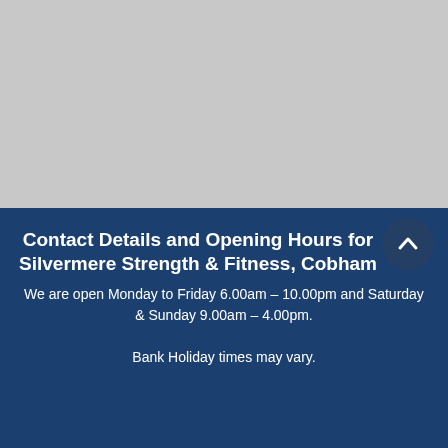[Figure (photo): Grey placeholder image area occupying the top half of the page]
Contact Details and Opening Hours for Silvermere Strength & Fitness, Cobham
We are open Monday to Friday 6.00am – 10.00pm and Saturday & Sunday 9.00am – 4.00pm.

Bank Holiday times may vary.